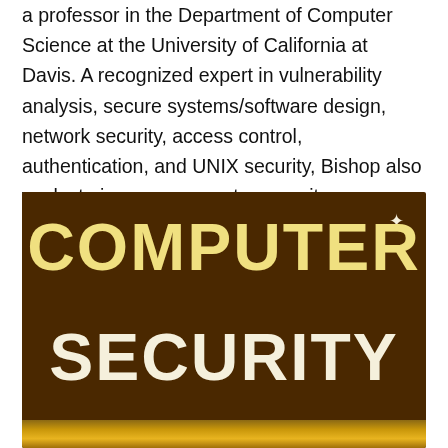a professor in the Department of Computer Science at the University of California at Davis. A recognized expert in vulnerability analysis, secure systems/software design, network security, access control, authentication, and UNIX security, Bishop also works to improve computer security instruction..
[Figure (illustration): Book cover for 'Computer Security' with dark brown background, large yellow bold text reading 'COMPUTER' on top and white bold text reading 'SECURITY' below, a small star symbol in the upper right, and a decorative golden strip at the bottom.]